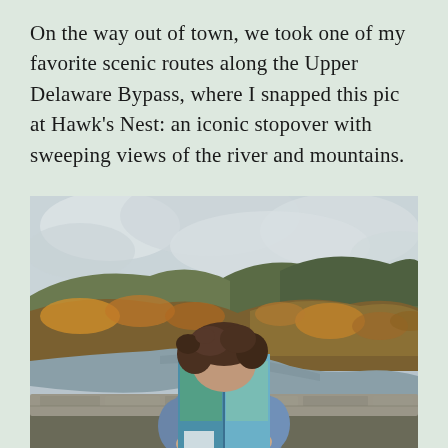On the way out of town, we took one of my favorite scenic routes along the Upper Delaware Bypass, where I snapped this pic at Hawk's Nest: an iconic stopover with sweeping views of the river and mountains.
[Figure (photo): A person sitting on a stone wall at Hawk's Nest overlook, holding up a book to cover their face. Behind them is a sweeping autumn landscape with forested mountains in fall foliage colors and a river winding through the valley below an overcast sky.]